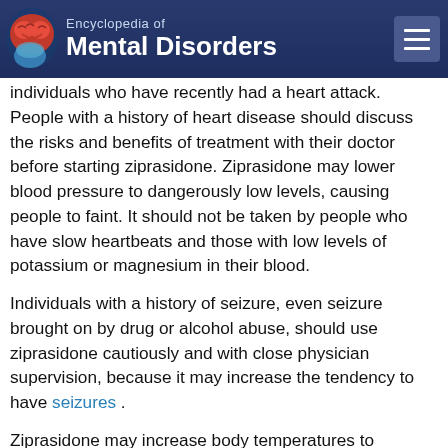Encyclopedia of Mental Disorders
individuals who have recently had a heart attack. People with a history of heart disease should discuss the risks and benefits of treatment with their doctor before starting ziprasidone. Ziprasidone may lower blood pressure to dangerously low levels, causing people to faint. It should not be taken by people who have slow heartbeats and those with low levels of potassium or magnesium in their blood.
Individuals with a history of seizure, even seizure brought on by drug or alcohol abuse, should use ziprasidone cautiously and with close physician supervision, because it may increase the tendency to have seizures .
Ziprasidone may increase body temperatures to dangerously high levels. People who exercise strenuously, those exposed to extreme heat, individuals taking drugs with anticholinergic effects (this includes many common antidepressants), and persons prone to dehydration, should use the drug cautiously